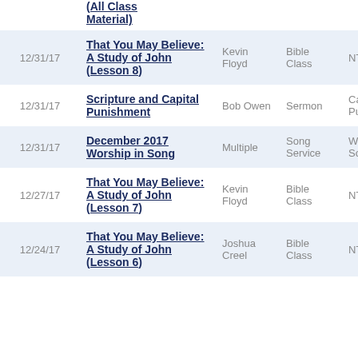| Date | Title | Speaker | Type | Series |
| --- | --- | --- | --- | --- |
|  | (All Class Material) |  |  |  |
| 12/31/17 | That You May Believe: A Study of John (Lesson 8) | Kevin Floyd | Bible Class | NT: Joh... |
| 12/31/17 | Scripture and Capital Punishment | Bob Owen | Sermon | Capital Punish... |
| 12/31/17 | December 2017 Worship in Song | Multiple | Song Service | Worship Song... |
| 12/27/17 | That You May Believe: A Study of John (Lesson 7) | Kevin Floyd | Bible Class | NT: Joh... |
| 12/24/17 | That You May Believe: A Study of John (Lesson 6) | Joshua Creel | Bible Class | NT: Joh... |